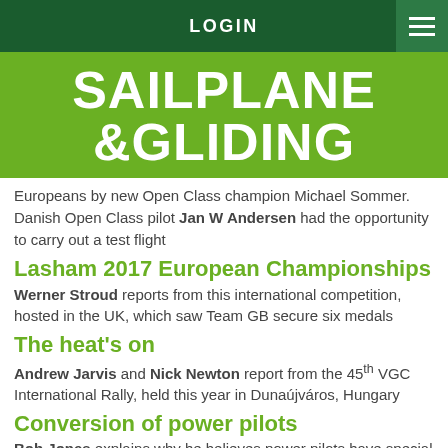LOGIN
SAILPLANE &GLIDING
Europeans by new Open Class champion Michael Sommer. Danish Open Class pilot Jan W Andersen had the opportunity to carry out a test flight
Lasham 2017 European Championships
Werner Stroud reports from this international competition, hosted in the UK, which saw Team GB secure six medals
The heat's on
Andrew Jarvis and Nick Newton report from the 45th VGC International Rally, held this year in Dunaújváros, Hungary
Conversion of power pilots
Bob Jones explains why he believes power pilots have special needs that need to be better understood and addressed when they are converting to flying gliders